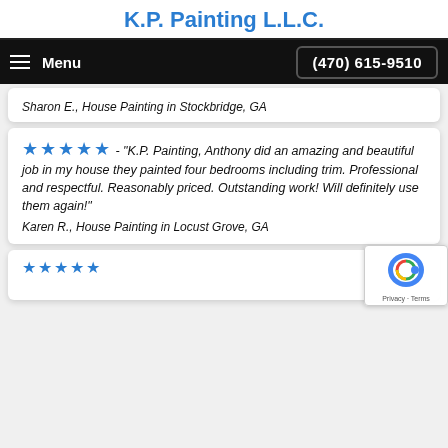K.P. Painting L.L.C.
Menu  (470) 615-9510
Sharon E., House Painting in Stockbridge, GA
★★★★★ - "K.P. Painting, Anthony did an amazing and beautiful job in my house they painted four bedrooms including trim. Professional and respectful. Reasonably priced. Outstanding work! Will definitely use them again!"
Karen R., House Painting in Locust Grove, GA
★★★★★ ...